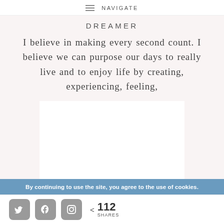NAVIGATE
DREAMER
I believe in making every second count. I believe we can purpose our days to really live and to enjoy life by creating, experiencing, feeling,
[Figure (photo): White rectangular image placeholder]
By continuing to use the site, you agree to the use of cookies.
112 SHARES